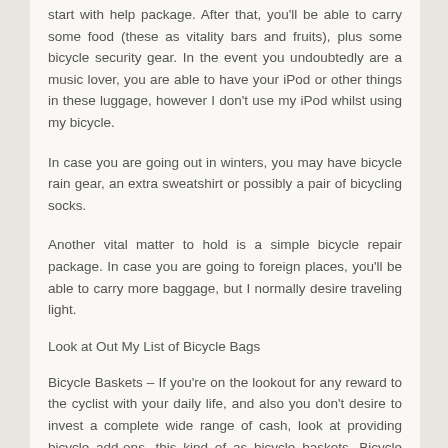start with help package. After that, you'll be able to carry some food (these as vitality bars and fruits), plus some bicycle security gear. In the event you undoubtedly are a music lover, you are able to have your iPod or other things in these luggage, however I don't use my iPod whilst using my bicycle.
In case you are going out in winters, you may have bicycle rain gear, an extra sweatshirt or possibly a pair of bicycling socks.
Another vital matter to hold is a simple bicycle repair package. In case you are going to foreign places, you'll be able to carry more baggage, but I normally desire traveling light.
Look at Out My List of Bicycle Bags
Bicycle Baskets – If you're on the lookout for any reward to the cyclist with your daily life, and also you don't desire to invest a complete wide range of cash, look at providing bicycle add-ons, this kind of as bicycle baskets. Bicycle rear and front baskets are wonderful for carrying your entire goods though your travel by way of bicycle.